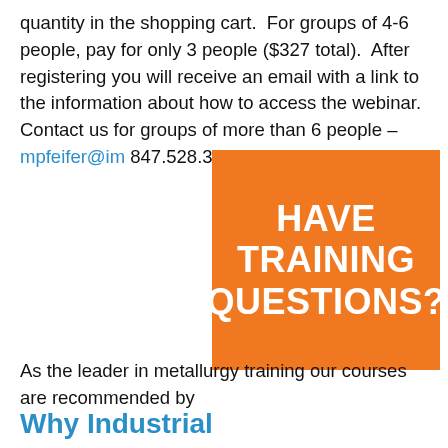quantity in the shopping cart. For groups of 4-6 people, pay for only 3 people ($327 total). After registering you will receive an email with a link to the information about how to access the webinar. Contact us for groups of more than 6 people – mpfeifer@im... 847.528.3467.
[Figure (infographic): Orange box with white bold text reading 'HAVE TRAINING QUESTIONS?']
As the leader in metallurgy training our courses are recommended by
[Figure (logo): SAE International logo]
Why Industrial